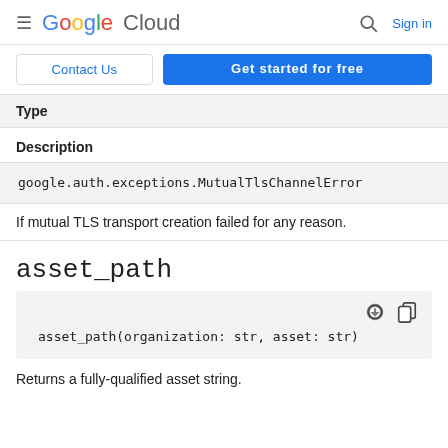Google Cloud | Sign in
Contact Us | Get started for free
| Type |
| --- |
Description
google.auth.exceptions.MutualTlsChannelError
If mutual TLS transport creation failed for any reason.
asset_path
asset_path(organization: str, asset: str)
Returns a fully-qualified asset string.